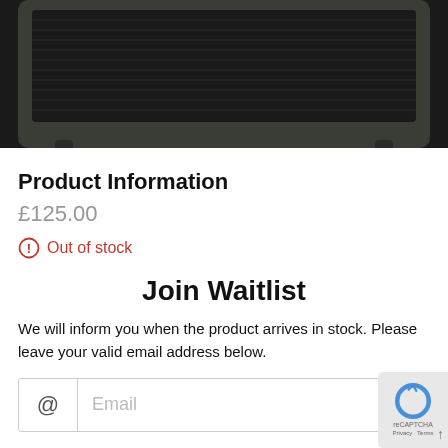[Figure (photo): Close-up photo of a dark grey/black guitar amplifier cabinet with textured fabric speaker grille and rubber feet, cropped at the top.]
Product Information
£125.00
⊙ Out of stock
Join Waitlist
We will inform you when the product arrives in stock. Please leave your valid email address below.
@ Email